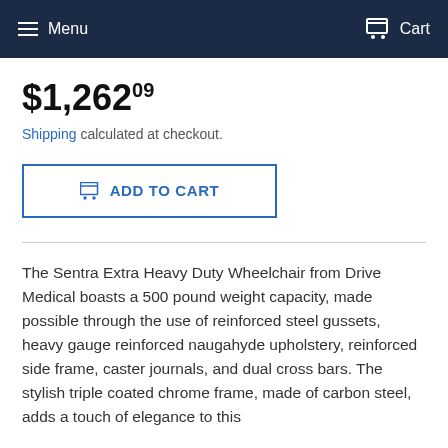Menu  Cart
$1,262.09
Shipping calculated at checkout.
ADD TO CART
The Sentra Extra Heavy Duty Wheelchair from Drive Medical boasts a 500 pound weight capacity, made possible through the use of reinforced steel gussets, heavy gauge reinforced naugahyde upholstery, reinforced side frame, caster journals, and dual cross bars. The stylish triple coated chrome frame, made of carbon steel, adds a touch of elegance to this